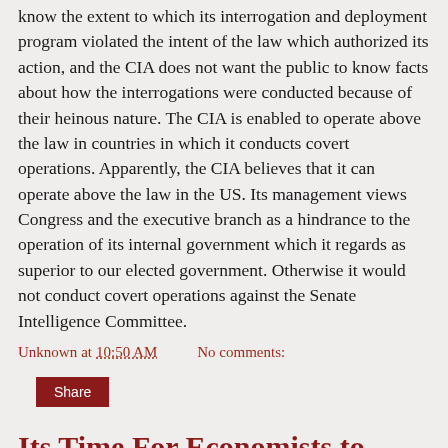know the extent to which its interrogation and deployment program violated the intent of the law which authorized its action, and the CIA does not want the public to know facts about how the interrogations were conducted because of their heinous nature.  The CIA is enabled to operate above the law in countries in which it conducts covert operations.  Apparently, the CIA believes that it can operate above the law in the US.  Its management views Congress and the executive branch as a hindrance to the operation of its internal government which it regards as superior to our elected government.  Otherwise it would not conduct covert operations against the Senate Intelligence Committee.
Unknown at 10:50 AM    No comments:
Share
Its Time For Economists to Read Thomas Piketty's New Book
James Kwak describes one of the old problems that economists are fond of fighting about. That is, the